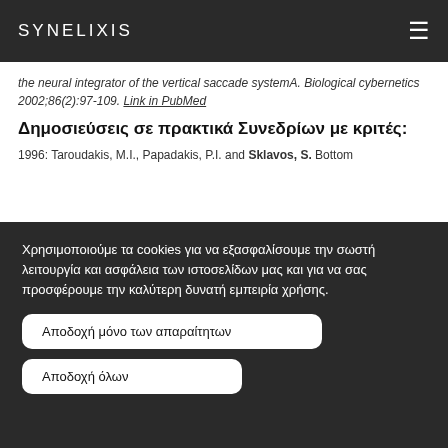SYNELIXIS
the neural integrator of the vertical saccade systemA. Biological cybernetics 2002;86(2):97-109. Link in PubMed
Δημοσιεύσεις σε πρακτικά Συνεδρίων με κριτές:
1996: Taroudakis, M.I., Papadakis, P.I. and Sklavos, S. Bottom
Χρησιμοποιούμε τα cookies για να εξασφαλίσουμε την σωστή λειτουργία και ασφάλεια των ιστοσελίδων μας και για να σας προσφέρουμε την καλύτερη δυνατή εμπειρία χρήσης.
Αποδοχή μόνο των απαραίτητων
Αποδοχή όλων